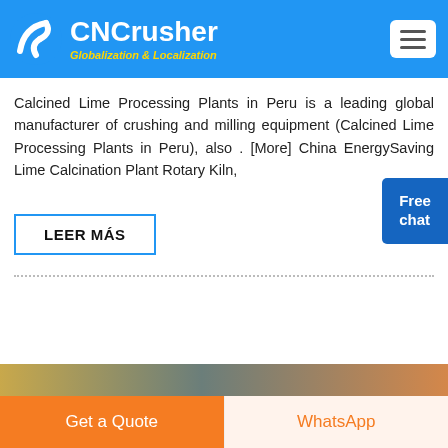CNCrusher Globalization & Localization
Calcined Lime Processing Plants in Peru is a leading global manufacturer of crushing and milling equipment (Calcined Lime Processing Plants in Peru), also . [More] China EnergySaving Lime Calcination Plant Rotary Kiln,
LEER MÁS
[Figure (screenshot): Bottom image strip showing partial product images]
Get a Quote   WhatsApp